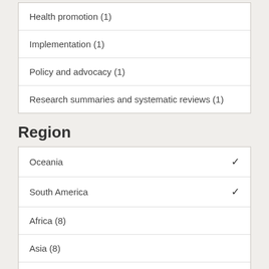Health promotion (1)
Implementation (1)
Policy and advocacy (1)
Research summaries and systematic reviews (1)
Region
Oceania ✓
South America ✓
Africa (8)
Asia (8)
Central America and the Caribbean (7)
Europe (7)
Middle East (7)
North America (7)